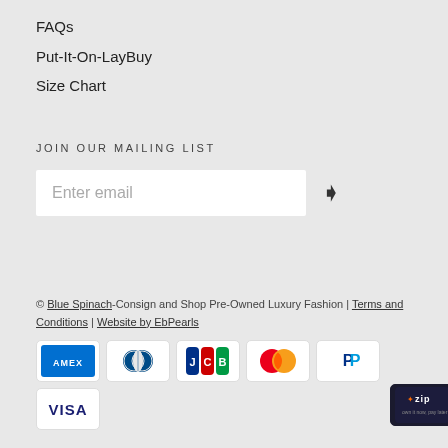FAQs
Put-It-On-LayBuy
Size Chart
JOIN OUR MAILING LIST
Enter email
© Blue Spinach-Consign and Shop Pre-Owned Luxury Fashion | Terms and Conditions | Website by EbPearls
[Figure (other): Payment method icons: American Express, Diners Club, JCB, Mastercard, PayPal, Visa, Zip]